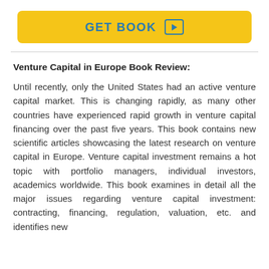[Figure (other): Yellow 'GET BOOK' button with a play icon in a bordered square, centered on the page]
Venture Capital in Europe Book Review:
Until recently, only the United States had an active venture capital market. This is changing rapidly, as many other countries have experienced rapid growth in venture capital financing over the past five years. This book contains new scientific articles showcasing the latest research on venture capital in Europe. Venture capital investment remains a hot topic with portfolio managers, individual investors, academics worldwide. This book examines in detail all the major issues regarding venture capital investment: contracting, financing, regulation, valuation, etc. and identifies new